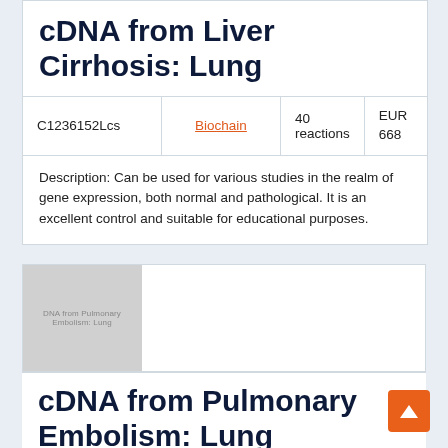cDNA from Liver Cirrhosis: Lung
| ID | Brand | Quantity | Price |
| --- | --- | --- | --- |
| C1236152Lcs | Biochain | 40 reactions | EUR 668 |
Description: Can be used for various studies in the realm of gene expression, both normal and pathological. It is an excellent control and suitable for educational purposes.
[Figure (photo): Product image placeholder for cDNA from Pulmonary Embolism: Lung with grey background and text label]
cDNA from Pulmonary Embolism: Lung